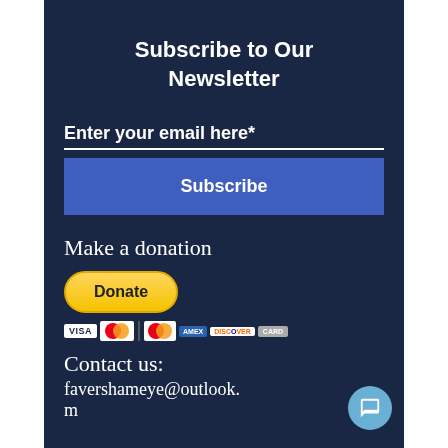Subscribe to Our Newsletter
Enter your email here*
Subscribe
Make a donation
[Figure (logo): PayPal Donate button (gold/yellow pill shape) followed by payment card icons: Visa, Mastercard, Maestro, American Express, Discover, and generic card]
Contact us:
favershameye@outlook.com